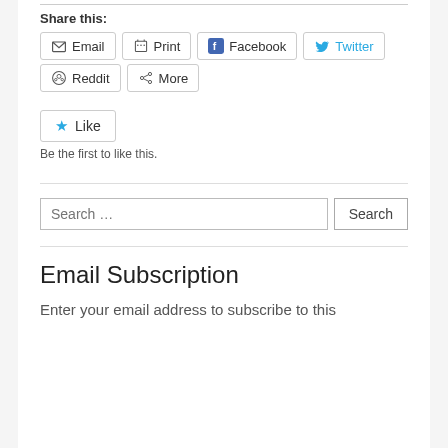Share this:
Email  Print  Facebook  Twitter  Reddit  More
[Figure (other): Like button widget with star icon and text 'Be the first to like this.']
Be the first to like this.
Search …
Email Subscription
Enter your email address to subscribe to this blog and receive notifications of new posts by email.